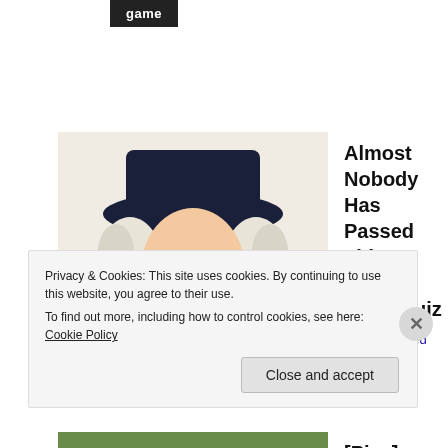game
[Figure (photo): Illustration of a colonial-era figure (man in tricorn hat and white wig) used for a quiz promotion]
Almost Nobody Has Passed This Classic Logo Quiz
WarpedSpeed
[Figure (photo): Photo of banana peels standing upright in garden soil]
[Pics] Plant Bananas In Your Garden, Here Is What Happens
TheDecorIdeas
Privacy & Cookies: This site uses cookies. By continuing to use this website, you agree to their use.
To find out more, including how to control cookies, see here: Cookie Policy
Close and accept